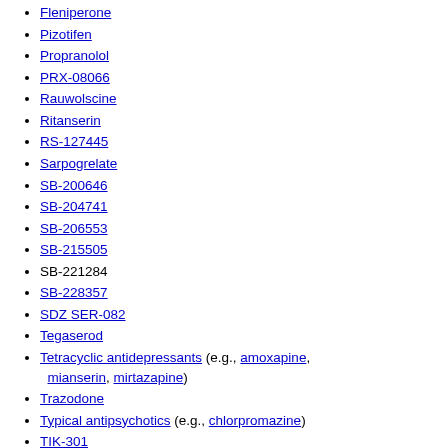Fleniperone
Pizotifen
Propranolol
PRX-08066
Rauwolscine
Ritanserin
RS-127445
Sarpogrelate
SB-200646
SB-204741
SB-206553
SB-215505
SB-221284
SB-228357
SDZ SER-082
Tegaserod
Tetracyclic antidepressants (e.g., amoxapine, mianserin, mirtazapine)
Trazodone
Typical antipsychotics (e.g., chlorpromazine)
TIK-301
Yohimbine
Unknown/unsorted: Ergolines (e.g., ergometrine (ergonovine))